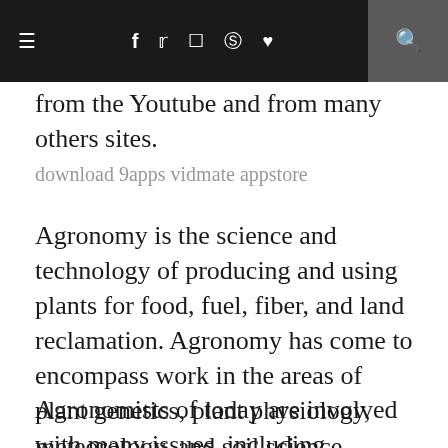≡  f  ✦  ⊡  ℗  ♥  🔍
from the Youtube and from many others sites.
download 9apps vidmate appstore
Agronomy is the science and technology of producing and using plants for food, fuel, fiber, and land reclamation. Agronomy has come to encompass work in the areas of plant genetics, plant physiology, meteorology, and soil science.
Agronomists of today are involved with many issues, including producing food, creating healthier food, managing the environmental